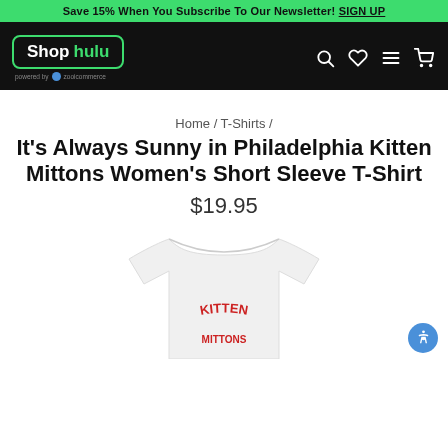Save 15% When You Subscribe To Our Newsletter! SIGN UP
[Figure (logo): Shop hulu logo on black navbar with search, wishlist, menu, and cart icons]
Home / T-Shirts /
It's Always Sunny in Philadelphia Kitten Mittons Women's Short Sleeve T-Shirt
$19.95
[Figure (photo): White women's short sleeve t-shirt with KITTEN MITTONS text in red arc lettering on the front]